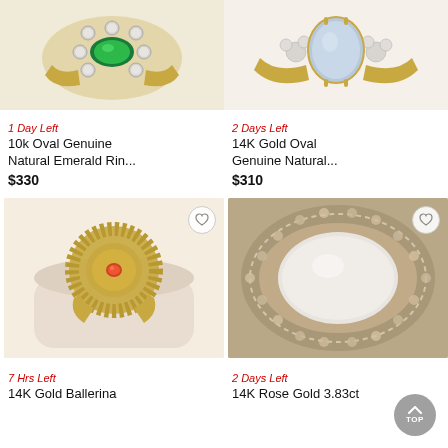[Figure (photo): 10k gold ring with oval green emerald center stone surrounded by diamond halo, yellow gold setting]
[Figure (photo): 14K gold ring with oval blue/grey chalcedony or moonstone center, small diamonds on shoulders]
1 Day Left
10k Oval Genuine Natural Emerald Rin...
$330
2 Days Left
14K Gold Oval Genuine Natural...
$310
[Figure (photo): 14K Gold Ballerina ring with small orange/pink center stone in sunburst gold setting, displayed on white ring holder]
[Figure (photo): 14K Rose Gold ring with large oval white/cream cabochon center surrounded by pave brown/champagne diamond halo]
7 Hrs Left
14K Gold Ballerina
2 Days Left
14K Rose Gold 3.83ct